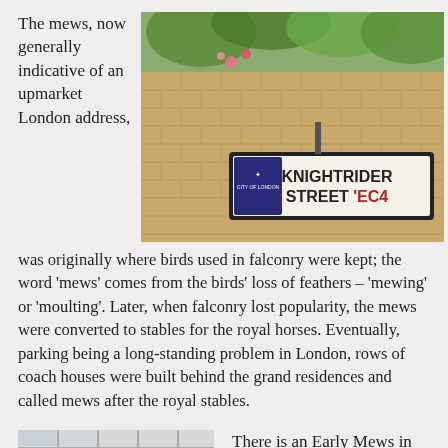The mews, now generally indicative of an upmarket London address,
[Figure (photo): A photograph of a London street sign reading 'KNIGHTRIDER STREET EC4' mounted on a brick wall with flowers and plants growing around it.]
was originally where birds used in falconry were kept; the word 'mews' comes from the birds' loss of feathers – 'mewing' or 'moulting'. Later, when falconry lost popularity, the mews were converted to stables for the royal horses. Eventually, parking being a long-standing problem in London, rows of coach houses were built behind the grand residences and called mews after the royal stables.
[Figure (photo): A partial photograph showing what appears to be a building with large windows and a sign partially visible showing letters 'EW'.]
There is an Early Mews in Camden (though, unfortunately, there is